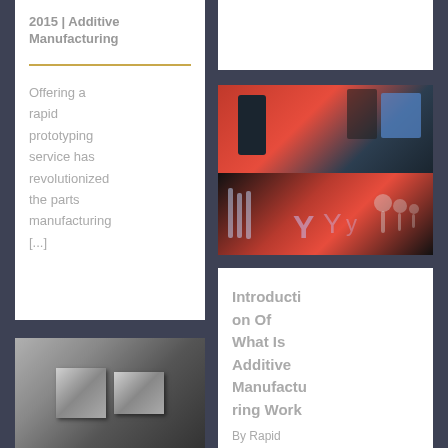2015 | Additive Manufacturing
Offering a rapid prototyping service has revolutionized the parts manufacturing [...]
[Figure (photo): Industrial machine with person operating it, and rapid prototyping parts below]
Introduction Of What Is Additive Manufacturing Work
By Rapid
[Figure (photo): Metallic mold or tooling parts, silver/chrome colored blocks]